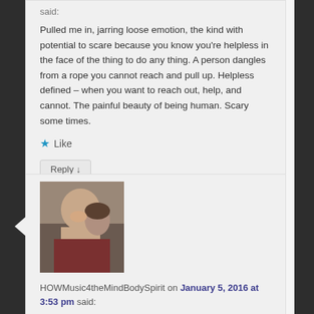said:
Pulled me in, jarring loose emotion, the kind with potential to scare because you know you're helpless in the face of the thing to do any thing. A person dangles from a rope you cannot reach and pull up. Helpless defined – when you want to reach out, help, and cannot. The painful beauty of being human. Scary some times.
★ Like
Reply ↓
[Figure (photo): Profile photo of two people smiling, one with shaved head]
HOWMusic4theMindBodySpirit on January 5, 2016 at 3:53 pm said:
I am so sorry. It seems so many of us with